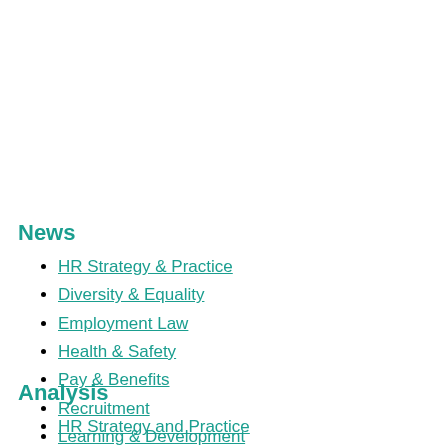News
HR Strategy & Practice
Diversity & Equality
Employment Law
Health & Safety
Pay & Benefits
Recruitment
Learning & Development
Analysis
HR Strategy and Practice
Diversity & Equality